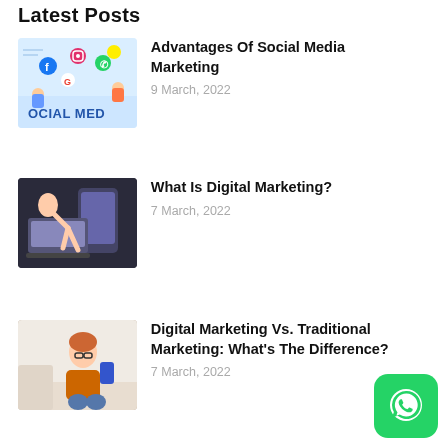Latest Posts
Advantages Of Social Media Marketing
9 March, 2022
What Is Digital Marketing?
7 March, 2022
Digital Marketing Vs. Traditional Marketing: What’s The Difference?
7 March, 2022